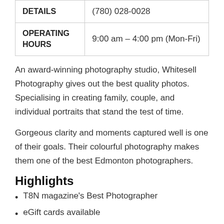| DETAILS | (780) 028-0028 |
| OPERATING HOURS | 9:00 am – 4:00 pm (Mon-Fri) |
An award-winning photography studio, Whitesell Photography gives out the best quality photos. Specialising in creating family, couple, and individual portraits that stand the test of time.
Gorgeous clarity and moments captured well is one of their goals. Their colourful photography makes them one of the best Edmonton photographers.
Highlights
T8N magazine's Best Photographer
eGift cards available